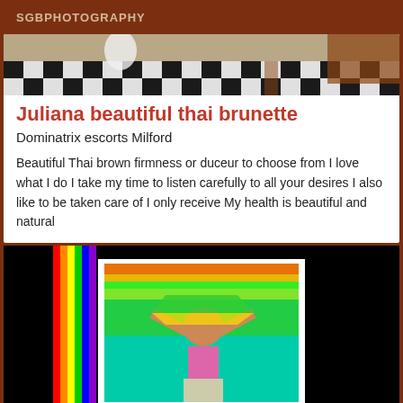SGBPHOTOGRAPHY
[Figure (photo): Partial view of a room with checkered floor and furniture]
Juliana beautiful thai brunette
Dominatrix escorts Milford
Beautiful Thai brown firmness or duceur to choose from I love what I do I take my time to listen carefully to all your desires I also like to be taken care of I only receive My health is beautiful and natural
[Figure (photo): Person holding a colorful flag with rainbow colors and green/yellow background]